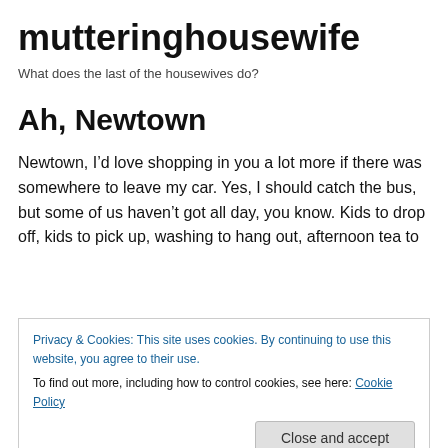mutteringhousewife
What does the last of the housewives do?
Ah, Newtown
Newtown, I’d love shopping in you a lot more if there was somewhere to leave my car. Yes, I should catch the bus, but some of us haven’t got all day, you know. Kids to drop off, kids to pick up, washing to hang out, afternoon tea to
Privacy & Cookies: This site uses cookies. By continuing to use this website, you agree to their use.
To find out more, including how to control cookies, see here: Cookie Policy
Close and accept
the filming, or if it’s a regular fixture? One never knows in